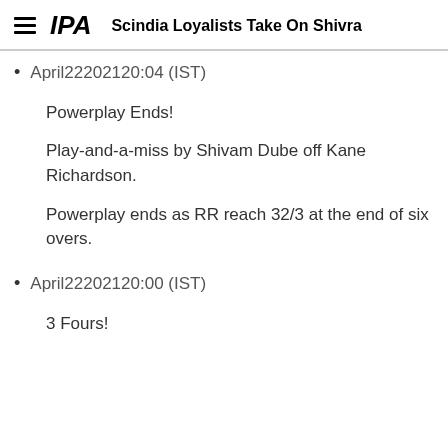IPA | Scindia Loyalists Take On Shivra
April22202120:04 (IST)
Powerplay Ends!
Play-and-a-miss by Shivam Dube off Kane Richardson.
Powerplay ends as RR reach 32/3 at the end of six overs.
April22202120:00 (IST)
3 Fours!